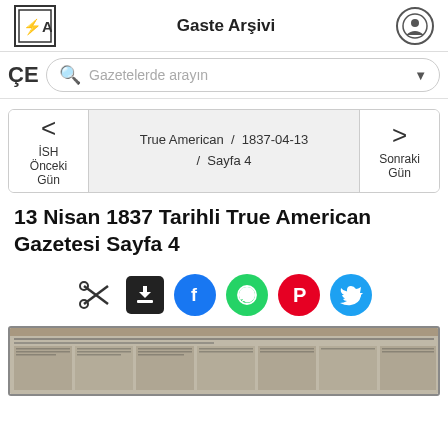Gaste Arşivi
Gazetelerde arayın
True American  /  1837-04-13  /  Sayfa 4
Önceki Gün
Sonraki Gün
13 Nisan 1837 Tarihli True American Gazetesi Sayfa 4
[Figure (screenshot): Social sharing icons: scissors/cut icon, download icon (black), Facebook (blue), WhatsApp (green), Pinterest (red), Twitter (blue)]
[Figure (photo): Thumbnail of a historical newspaper page from the True American, dated April 13, 1837, Page 4 — grayscale newspaper image with multiple columns of text]